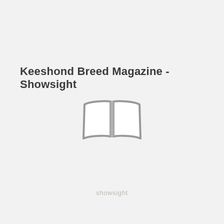Keeshond Breed Magazine - Showsight
[Figure (illustration): Open book / magazine icon in grey outline style, representing a publication placeholder]
showsight